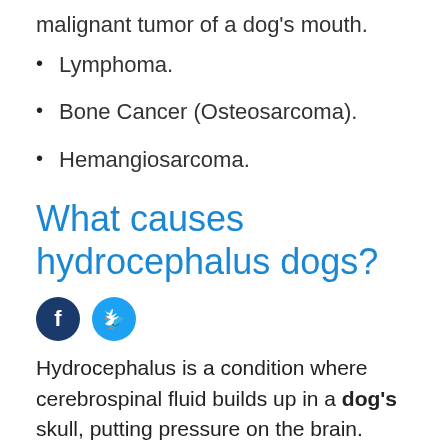malignant tumor of a dog's mouth.
Lymphoma.
Bone Cancer (Osteosarcoma).
Hemangiosarcoma.
What causes hydrocephalus dogs?
[Figure (other): Facebook and Twitter social share icons]
Hydrocephalus is a condition where cerebrospinal fluid builds up in a dog's skull, putting pressure on the brain.
It is sometimes referred to as "water on the brain." It is often congenital, meaning it is present at birth, and certain breeds are predisposed to the condition